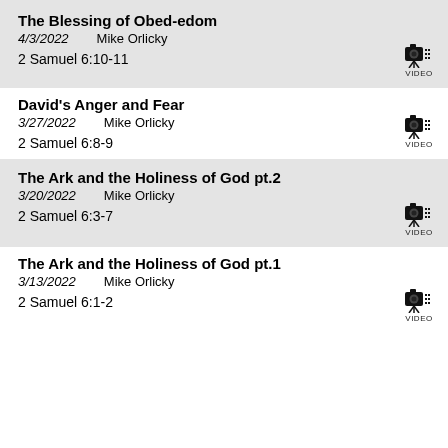The Blessing of Obed-edom
4/3/2022    Mike Orlicky
2 Samuel 6:10-11
David's Anger and Fear
3/27/2022    Mike Orlicky
2 Samuel 6:8-9
The Ark and the Holiness of God pt.2
3/20/2022    Mike Orlicky
2 Samuel 6:3-7
The Ark and the Holiness of God pt.1
3/13/2022    Mike Orlicky
2 Samuel 6:1-2